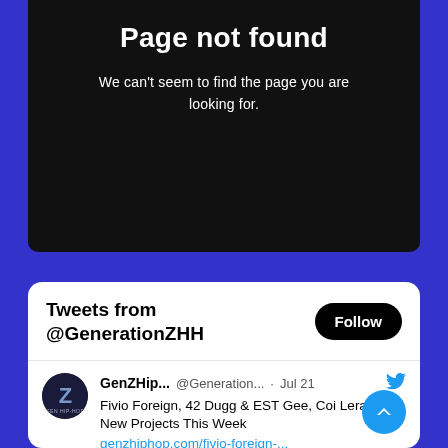Page not found
We can't seem to find the page you are looking for.
[Figure (screenshot): Twitter widget showing Tweets from @GenerationZHH with a Follow button and a tweet from GenZHip... @Generation... · Jul 21: Fivio Foreign, 42 Dugg & EST Gee, Coi Leray – New Projects This Week genzhiphop.com/fivio-foreign-...]